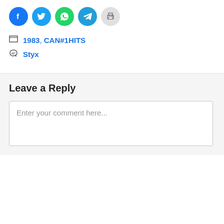[Figure (other): Social sharing icons: Facebook (blue circle), Twitter (blue circle), WhatsApp (green circle), Telegram (blue circle), Print (gray circle)]
1983, CAN#1HITS
Styx
Leave a Reply
Enter your comment here...